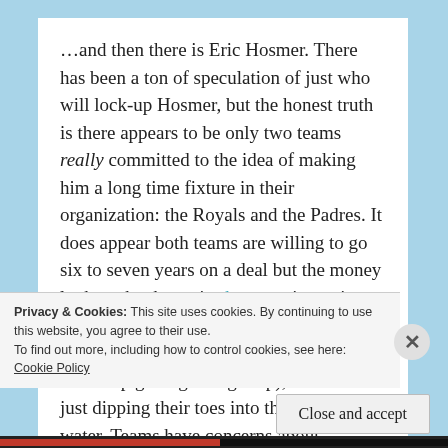…and then there is Eric Hosmer. There has been a ton of speculation of just who will lock-up Hosmer, but the honest truth is there appears to be only two teams really committed to the idea of making him a long time fixture in their organization: the Royals and the Padres. It does appear both teams are willing to go six to seven years on a deal but the money looks to be the major hang-up in getting the pen to paper. A few other teams appear at least in the mix (the Cardinals and Red Sox keep getting brought up), even if it is just dipping their toes into the proverbial water. Teams have concerns about
Privacy & Cookies: This site uses cookies. By continuing to use this website, you agree to their use.
To find out more, including how to control cookies, see here:
Cookie Policy
Close and accept